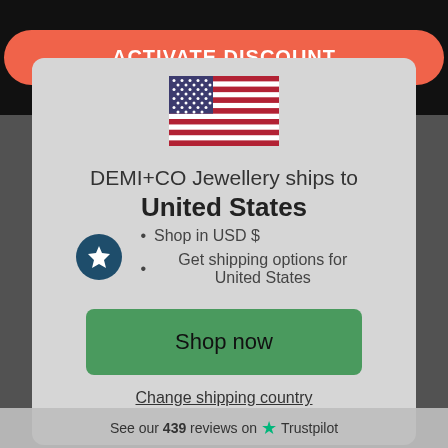[Figure (screenshot): Orange/coral rounded button with text ACTIVATE DISCOUNT on black background bar at top]
[Figure (illustration): United States flag icon]
DEMI+CO Jewellery ships to United States
Shop in USD $
Get shipping options for United States
Shop now
Change shipping country
See our 439 reviews on Trustpilot